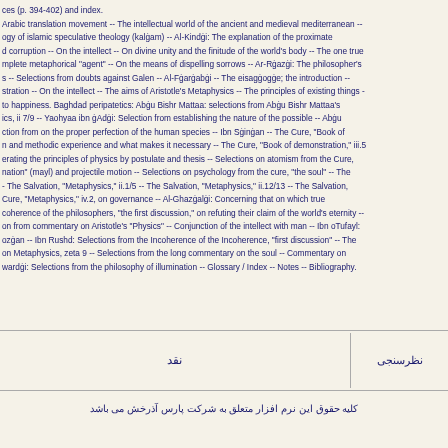ces (p. 394-402) and index. Arabic translation movement -- The intellectual world of the ancient and medieval mediterranean -- ogy of islamic speculative theology (kalġam) -- Al-Kindġi: The explanation of the proximate d corruption -- On the intellect -- On divine unity and the finitude of the world's body -- The one true mplete metaphorical "agent" -- On the means of dispelling sorrows -- Ar-Rġazġi: The philosopher's s -- Selections from doubts against Galen -- Al-Fġarġabġi -- The eisagġogġe; the introduction -- stration -- On the intellect -- The aims of Aristotle's Metaphysics -- The principles of existing things -- to happiness. Baghdad peripatetics: Abġu Bishr Mattaa: selections from Abġu Bishr Mattaa's ics, ii 7/9 -- Yaohyaa ibn ġAdġi: Selection from establishing the nature of the possible -- Abġu ction from on the proper perfection of the human species -- Ibn Sġinġan -- The Cure, "Book of n and methodic experience and what makes it necessary -- The Cure, "Book of demonstration," iii.5 erating the principles of physics by postulate and thesis -- Selections on atomism from the Cure, nation" (mayl) and projectile motion -- Selections on psychology from the cure, "the soul" -- The - The Salvation, "Metaphysics," ii.1/5 -- The Salvation, "Metaphysics," ii.12/13 -- The Salvation, Cure, "Metaphysics," iv.2, on governance -- Al-Ghazġalġi: Concerning that on which true coherence of the philosophers, "the first discussion," on refuting their claim of the world's eternity -- on from commentary on Aristotle's "Physics" -- Conjunction of the intellect with man -- Ibn oTufayl: ozġan -- Ibn Rushd: Selections from the Incoherence of the Incoherence, "first discussion" -- The on Metaphysics, zeta 9 -- Selections from the long commentary on the soul -- Commentary on wardġi: Selections from the philosophy of illumination -- Glossary / Index -- Notes -- Bibliography.
نقد
نظرسنجی
کلیه حقوق این نرم افزار متعلق به شرکت پارس آذرخش می باشد